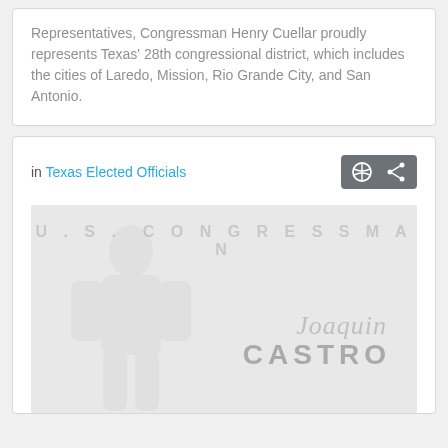Representatives, Congressman Henry Cuellar proudly represents Texas' 28th congressional district, which includes the cities of Laredo, Mission, Rio Grande City, and San Antonio.
in Texas Elected Officials
[Figure (other): U.S. Congressman Joaquin Castro promotional image with watermark text 'U.S. CONGRESSMAN', a signature reading 'Joaquin', and bold text 'CASTRO' overlaid on a light grey background with a silhouette figure]